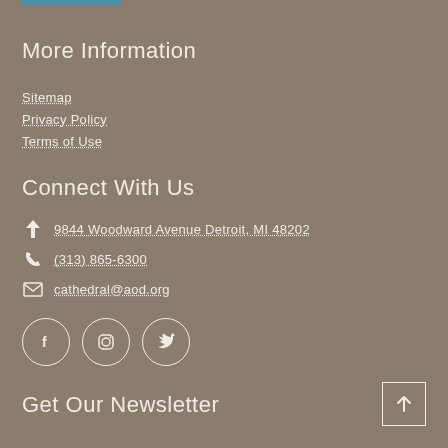More Information
Sitemap
Privacy Policy
Terms of Use
Connect With Us
9844 Woodward Avenue Detroit, MI 48202
(313) 865-6300
cathedral@aod.org
[Figure (illustration): Social media icons: Facebook, Instagram, Twitter in circular outlines]
Get Our Newsletter